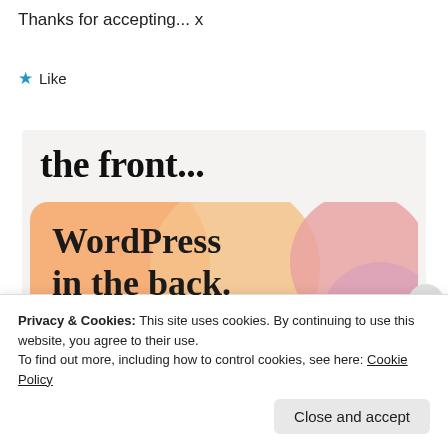Thanks for accepting... x
★ Like
[Figure (illustration): A blog/website promotional image. Top section shows text 'the front...' on a light beige background. Below is an orange/peach gradient banner with overlapping circular bubble shapes in orange, peach, and mauve, with text 'WordPress in the back.' in bold serif font.]
Privacy & Cookies: This site uses cookies. By continuing to use this website, you agree to their use.
To find out more, including how to control cookies, see here: Cookie Policy
Close and accept